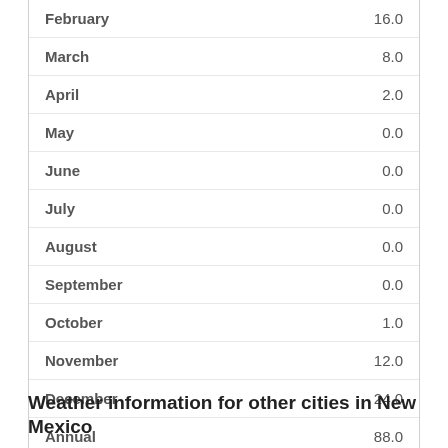| Month | Value |
| --- | --- |
| January | 25.0 |
| February | 16.0 |
| March | 8.0 |
| April | 2.0 |
| May | 0.0 |
| June | 0.0 |
| July | 0.0 |
| August | 0.0 |
| September | 0.0 |
| October | 1.0 |
| November | 12.0 |
| December | 24.0 |
| Annual | 88.0 |
Weather information for other cities in New Mexico